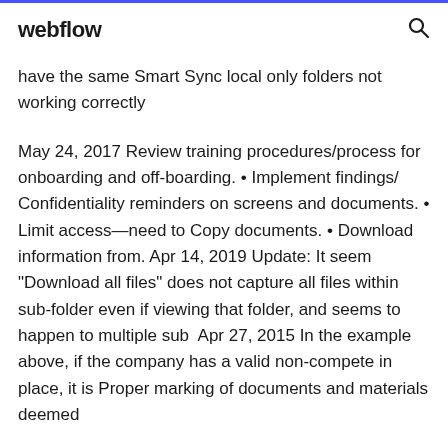webflow
have the same Smart Sync local only folders not working correctly
May 24, 2017 Review training procedures/process for onboarding and off-boarding. • Implement findings/ Confidentiality reminders on screens and documents. • Limit access—need to Copy documents. • Download information from. Apr 14, 2019 Update: It seem "Download all files" does not capture all files within sub-folder even if viewing that folder, and seems to happen to multiple sub  Apr 27, 2015 In the example above, if the company has a valid non-compete in place, it is Proper marking of documents and materials deemed